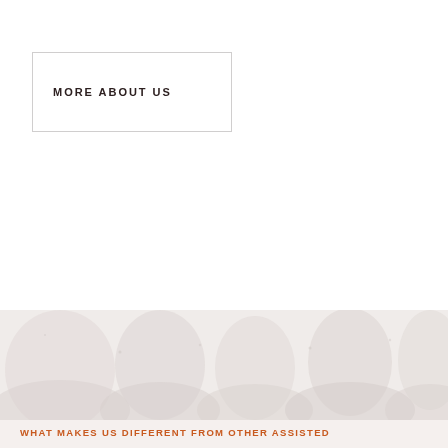MORE ABOUT US
[Figure (photo): Faded background texture/photo image in the lower portion of the page]
WHAT MAKES US DIFFERENT FROM OTHER ASSISTED